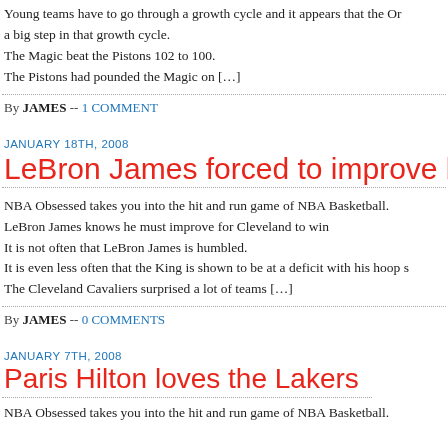Young teams have to go through a growth cycle and it appears that the Or... a big step in that growth cycle.
The Magic beat the Pistons 102 to 100.
The Pistons had pounded the Magic on [...]
By JAMES -- 1 COMMENT
JANUARY 18TH, 2008
LeBron James forced to improve by S
NBA Obsessed takes you into the hit and run game of NBA Basketball.
LeBron James knows he must improve for Cleveland to win
It is not often that LeBron James is humbled.
It is even less often that the King is shown to be at a deficit with his hoop s...
The Cleveland Cavaliers surprised a lot of teams [...]
By JAMES -- 0 COMMENTS
JANUARY 7TH, 2008
Paris Hilton loves the Lakers
NBA Obsessed takes you into the hit and run game of NBA Basketball.